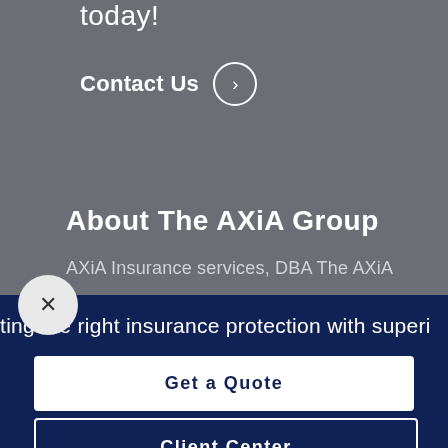today!
Contact Us →
About The AXiA Group
AXiA Insurance services, DBA The AXiA
ting the right insurance protection with superi
Get a Quote
Client Center